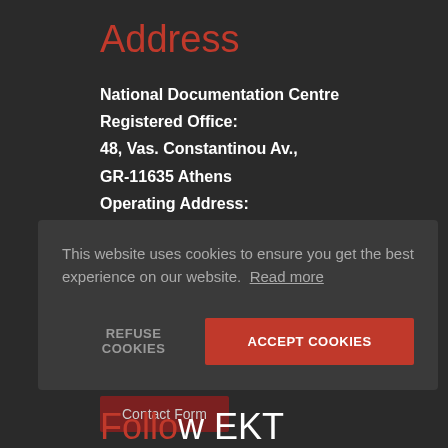Address
National Documentation Centre
Registered Office:
48, Vas. Constantinou Av.,
GR-11635 Athens
Operating Address:
56 Zefyrou str.,
GR-17564 Palaio Faliro
Contact EKT
Contact us with your queries, comments or suggestions
Contact Form
This website uses cookies to ensure you get the best experience on our website.  Read more
REFUSE COOKIES
ACCEPT COOKIES
Follow EKT